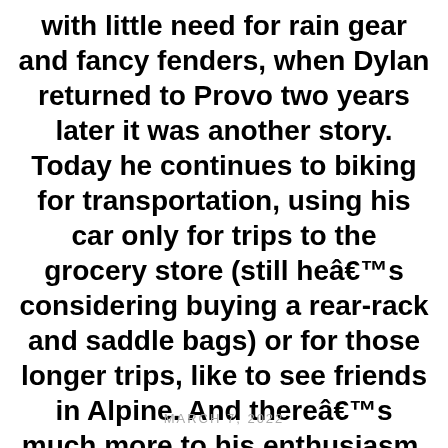with little need for rain gear and fancy fenders, when Dylan returned to Provo two years later it was another story. Today he continues to biking for transportation, using his car only for trips to the grocery store (still heâ€™s considering buying a rear-rack and saddle bags) or for those longer trips, like to see friends in Alpine. And thereâ€™s much more to his enthusiasm. (continued in comments)
MARCH 7, 2022